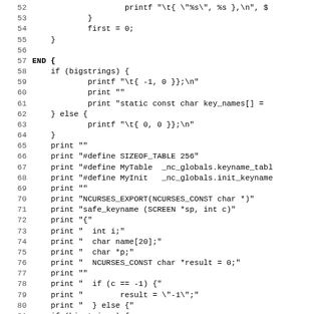Source code listing lines 52-83, AWK/C code for key name table generation